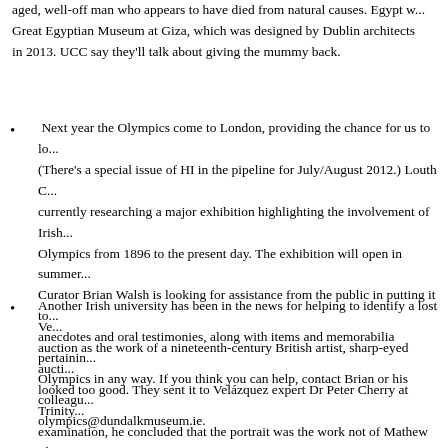aged, well-off man who appears to have died from natural causes. Egypt w... Great Egyptian Museum at Giza, which was designed by Dublin architects in 2013. UCC say they'll talk about giving the mummy back.
Next year the Olympics come to London, providing the chance for us to lo... (There's a special issue of HI in the pipeline for July/August 2012.) Louth C... currently researching a major exhibition highlighting the involvement of Irish... Olympics from 1896 to the present day. The exhibition will open in summer... Curator Brian Walsh is looking for assistance from the public in putting it to... anecdotes and oral testimonies, along with items and memorabilia pertainin... Olympics in any way. If you think you can help, contact Brian or his colleagu... olympics@dundalkmuseum.ie.
Another Irish university has been in the news for helping to identify a lost Ve... auction as the work of a nineteenth-century British artist, sharp-eyed aucti... looked too good. They sent it to Velázquez expert Dr Peter Cherry at Trinity... examination, he concluded that the portrait was the work not of Mathew Sh... master. By Shepperson it was valued at around €600, but as an original Ve... . like €3 million more. So check those paintings hanging up at home. They m...